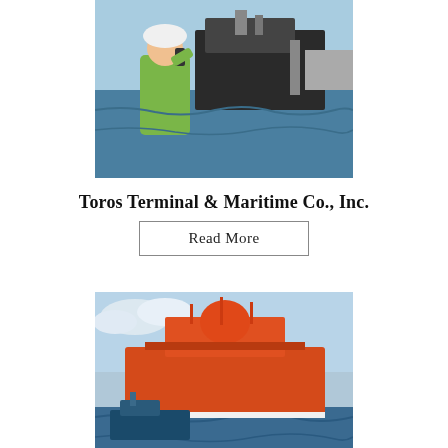[Figure (photo): A worker in a yellow hard hat and vest talking on a radio with a large ship and port in the background on blue water]
Toros Terminal & Maritime Co., Inc.
Read More
[Figure (photo): A large orange ship with a smaller tugboat alongside it on choppy blue water]
Toros Ship Agency Services Co., Inc.
Read More